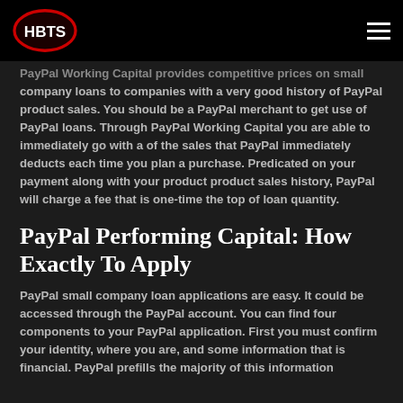HBTS
PayPal Working Capital provides competitive prices on small company loans to companies with a very good history of PayPal product sales. You should be a PayPal merchant to get use of PayPal loans. Through PayPal Working Capital you are able to immediately go with a of the sales that PayPal immediately deducts each time you plan a purchase. Predicated on your payment along with your product product sales history, PayPal will charge a fee that is one-time the top of loan quantity.
PayPal Performing Capital: How Exactly To Apply
PayPal small company loan applications are easy. It could be accessed through the PayPal account. You can find four components to your PayPal application. First you must confirm your identity, where you are, and some information that is financial. PayPal prefills the majority of this information